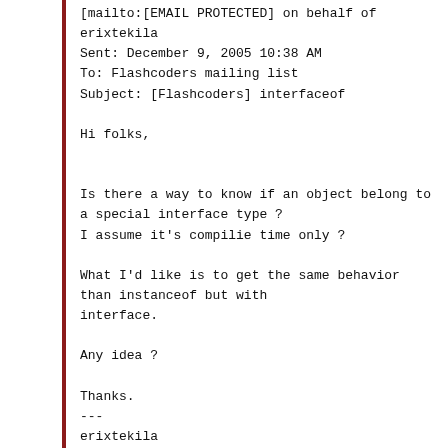[mailto:[EMAIL PROTECTED] on behalf of erixtekila
Sent: December 9, 2005 10:38 AM
To: Flashcoders mailing list
Subject: [Flashcoders] interfaceof

Hi folks,


Is there a way to know if an object belong to a special interface type ?
I assume it's compilie time only ?

What I'd like is to get the same behavior than instanceof but with interface.

Any idea ?

Thanks.
---
erixtekila
http://blog.v-i-a.net/